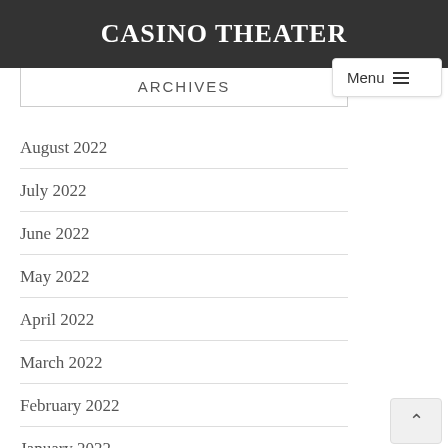CASINO THEATER
ARCHIVES
August 2022
July 2022
June 2022
May 2022
April 2022
March 2022
February 2022
January 2022